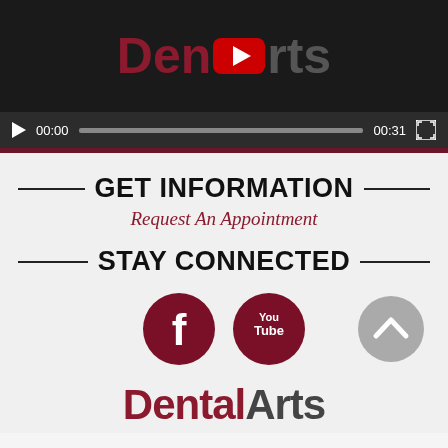[Figure (screenshot): Video player showing Dental Arts logo with YouTube play icon overlay, video controls bar showing 00:00 / 00:31 timestamp and progress bar]
GET INFORMATION
Request An Appointment
STAY CONNECTED
[Figure (logo): Facebook circle logo in dark red/maroon color]
[Figure (logo): YouTube circle logo in dark red/maroon color]
[Figure (other): Gray circular scroll-to-top button with upward chevron]
[Figure (logo): Dental Arts logo text partially visible at bottom]